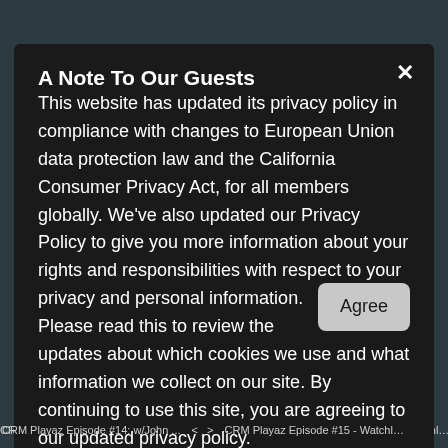A Note To Our Guests
This website has updated its privacy policy in compliance with changes to European Union data protection law and the California Consumer Privacy Act, for all members globally. We've also updated our Privacy Policy to give you more information about your rights and responsibilities with respect to your privacy and personal information. Please read this to review the updates about which cookies we use and what information we collect on our site. By continuing to use this site, you are agreeing to our updated privacy policy.
CRM Playaz Episode #14: w/John ...   <   >   CRM Playaz Episode #15 - Watchl…